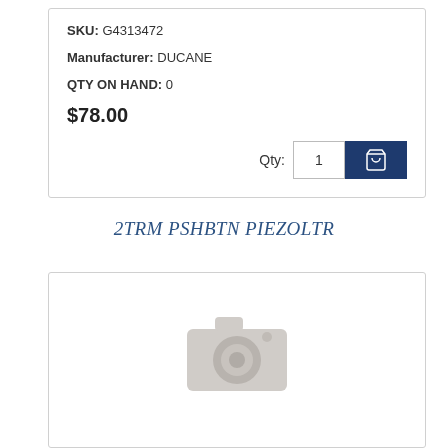SKU: G4313472
Manufacturer: DUCANE
QTY ON HAND: 0
$78.00
Qty: 1 [Add to Cart]
2TRM PSHBTN PIEZOLTR
[Figure (photo): No image available placeholder icon (camera icon in light gray)]